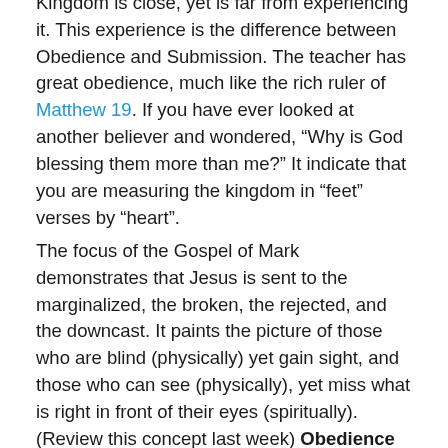Kingdom is close, yet is far from experiencing it. This experience is the difference between Obedience and Submission. The teacher has great obedience, much like the rich ruler of Matthew 19. If you have ever looked at another believer and wondered, “Why is God blessing them more than me?” It indicate that you are measuring the kingdom in “feet” verses by “heart”.
The focus of the Gospel of Mark demonstrates that Jesus is sent to the marginalized, the broken, the rejected, and the downcast. It paints the picture of those who are blind (physically) yet gain sight, and those who can see (physically), yet miss what is right in front of their eyes (spiritually). (Review this concept last week) Obedience is the outward path of physical experience, as opposed to Submission which is an inward spiritual path of experience. To be obedient is to follow a plan, a course of